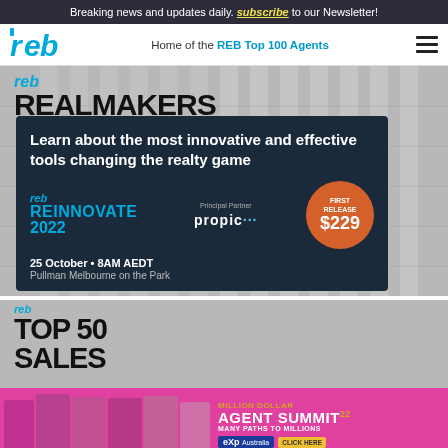Breaking news and updates daily. subscribe to our Newsletter!
[Figure (screenshot): REB website navigation bar with logo, 'Home of the REB Top 100 Agents' tagline and hamburger menu]
[Figure (screenshot): Website screenshot showing REB Realmakers section with a promotional ad overlay for REB Reinnovate 2022 event on 25 October at Pullman Melbourne on the Park, first release tickets $229, principal partner Propic]
[Figure (screenshot): Bottom strip advertisement for Million Dollar Agent Summit, eXp Australia, with text 'Many Paths to Millions' and 'Click Here' button]